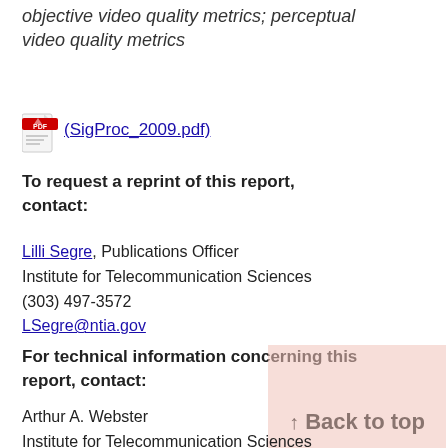objective video quality metrics; perceptual video quality metrics
[Figure (other): PDF file icon with link to (SigProc_2009.pdf)]
To request a reprint of this report, contact:
Lilli Segre, Publications Officer
Institute for Telecommunication Sciences
(303) 497-3572
LSegre@ntia.gov
For technical information concerning this report, contact:
Arthur A. Webster
Institute for Telecommunication Sciences